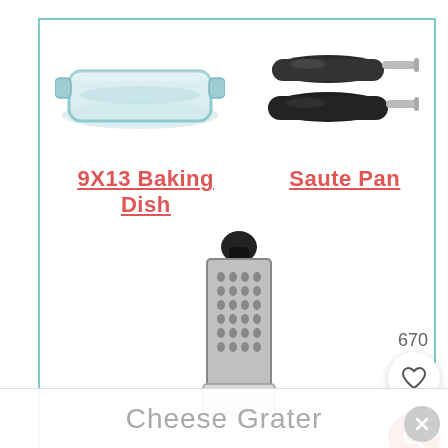[Figure (photo): Glass 9x13 baking dish, transparent, rectangular with handles]
[Figure (photo): Two black nonstick saute pans with stainless steel handles]
9X13 Baking Dish
Saute Pan
[Figure (photo): Stainless steel box cheese grater with black handle and clear measuring cup base]
Cheese Grater
670